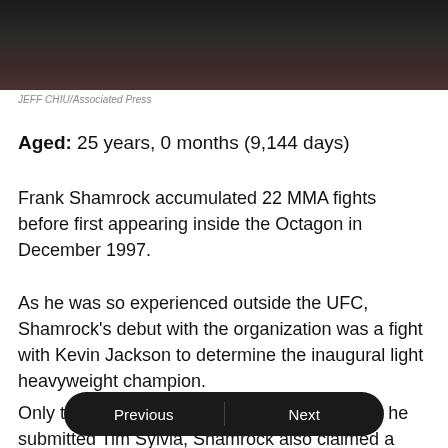[Figure (photo): Blurred photo of a person, dark background with reddish tones on the right]
JEFF CHIU/Associated Press
Aged: 25 years, 0 months (9,144 days)
Frank Shamrock accumulated 22 MMA fights before first appearing inside the Octagon in December 1997.
As he was so experienced outside the UFC, Shamrock's debut with the organization was a fight with Kevin Jackson to determine the inaugural light heavyweight champion.
Only two weeks younger than Frank Mir when he submitted Tim Sylvia, Shamrock also claimed a UFC belt with an armbar